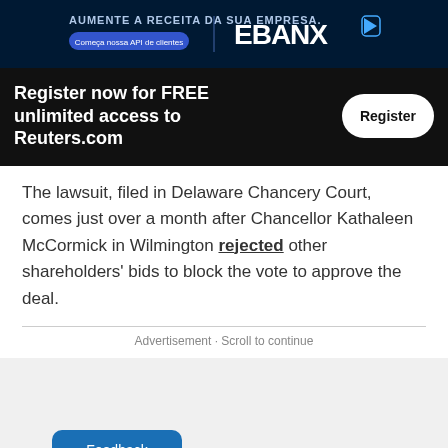[Figure (screenshot): Advertisement banner with dark blue background showing 'AUMENTE A RECEITA DA SUA EMPRESA.' text and EBANX logo with play icon button]
Register now for FREE unlimited access to Reuters.com
The lawsuit, filed in Delaware Chancery Court, comes just over a month after Chancellor Kathaleen McCormick in Wilmington rejected other shareholders' bids to block the vote to approve the deal.
Advertisement · Scroll to continue
Feedback